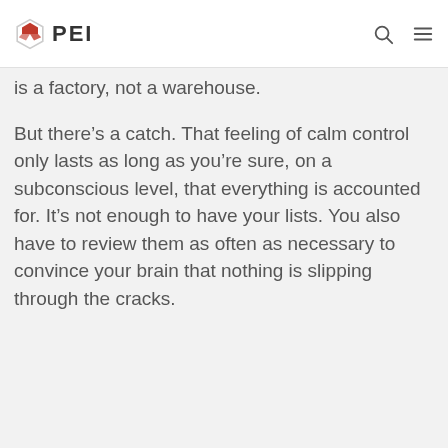PEI
is a factory, not a warehouse.
But there’s a catch. That feeling of calm control only lasts as long as you’re sure, on a subconscious level, that everything is accounted for. It’s not enough to have your lists. You also have to review them as often as necessary to convince your brain that nothing is slipping through the cracks.